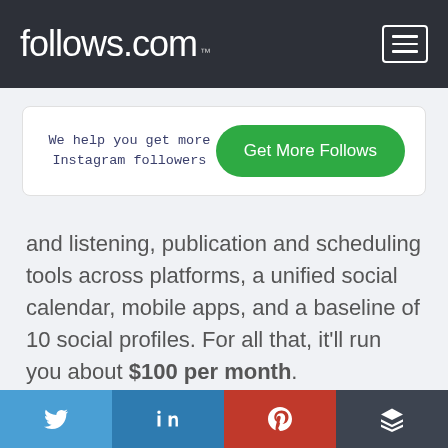follows.com ™
We help you get more Instagram followers
Get More Follows
and listening, publication and scheduling tools across platforms, a unified social calendar, mobile apps, and a baseline of 10 social profiles. For all that, it'll run you about $100 per month.
17. Fanpage Karma
[Figure (other): Social sharing buttons: Twitter, LinkedIn, Pinterest, Buffer]